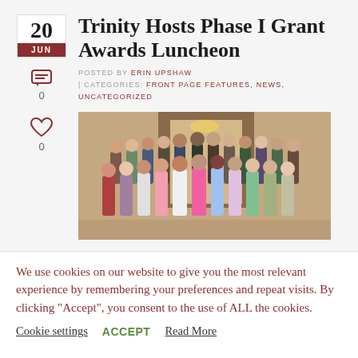Trinity Hosts Phase I Grant Awards Luncheon
POSTED BY ERIN UPSHAW | CATEGORIES: FRONT PAGE FEATURES, NEWS, UNCATEGORIZED
[Figure (photo): Group photo of approximately 30 people posing together indoors at a luncheon event]
We use cookies on our website to give you the most relevant experience by remembering your preferences and repeat visits. By clicking “Accept”, you consent to the use of ALL the cookies.
Cookie settings  ACCEPT  Read More